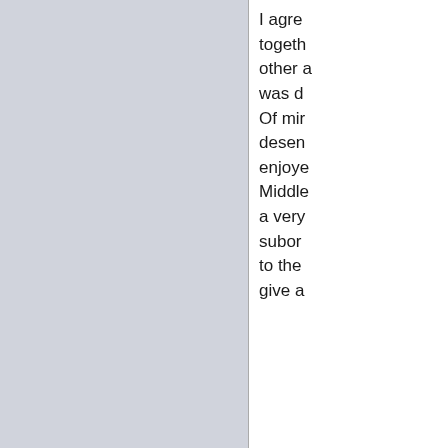I agre together other a was de Of min deserv enjoye Middle a very subord to the give a
Dear N Cromw rose to succes toady his co come comm